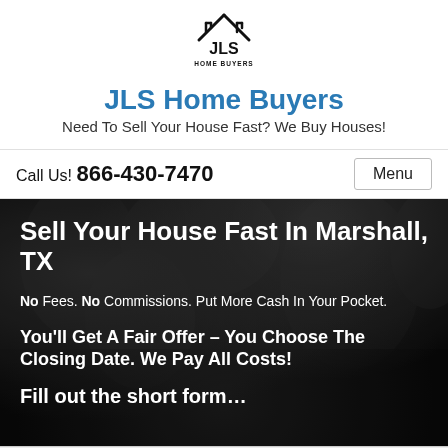[Figure (logo): JLS Home Buyers logo — house roof icon above text JLS HOME BUYERS]
JLS Home Buyers
Need To Sell Your House Fast? We Buy Houses!
Call Us! 866-430-7470   Menu
[Figure (photo): Dark background photo of trees at night used as hero image]
Sell Your House Fast In Marshall, TX
No Fees. No Commissions. Put More Cash In Your Pocket.
You'll Get A Fair Offer – You Choose The Closing Date. We Pay All Costs!
Fill out the short form…